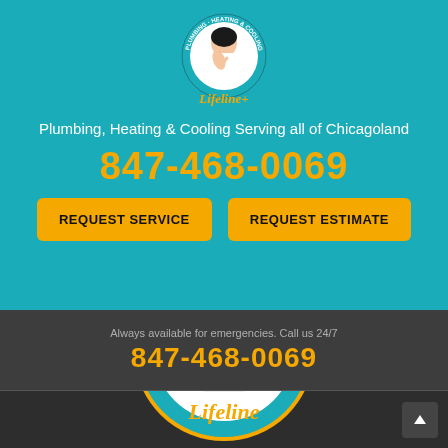[Figure (logo): Lifeline Plumbing Heating & Cooling circular logo with cartoon plumber mascot]
Plumbing, Heating & Cooling Serving all of Chicagoland
847-468-0069
REQUEST SERVICE
REQUEST ESTIMATE
Always available for emergencies. Call us 24/7
847-468-0069
[Figure (logo): Large Lifeline Plumbing Heating & Cooling circular logo with cartoon plumber mascot and Lifeline script text below]